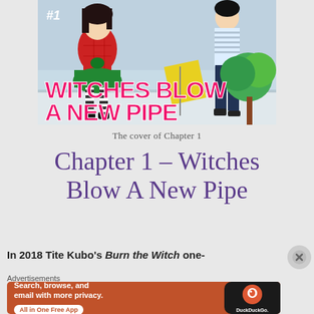[Figure (illustration): Manga cover for chapter 1 of 'Witches Blow A New Pipe', showing anime-style characters, with large pink title text and '#1' label]
The cover of Chapter 1
Chapter 1 – Witches Blow A New Pipe
In 2018 Tite Kubo's Burn the Witch one-
[Figure (screenshot): DuckDuckGo advertisement banner: 'Search, browse, and email with more privacy. All in One Free App' with phone mockup and DuckDuckGo logo]
Advertisements